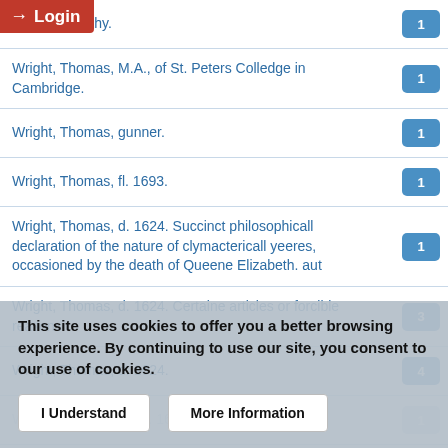Wright, Timothy.
Wright, Thomas, M.A., of St. Peters Colledge in Cambridge.
Wright, Thomas, gunner.
Wright, Thomas, fl. 1693.
Wright, Thomas, d. 1624. Succinct philosophicall declaration of the nature of clymactericall yeeres, occasioned by the death of Queene Elizabeth. aut
Wright, Thomas, d. 1624. Certaine articles or forcible reasons.
Wright, Thomas, d. 1624.
This site uses cookies to offer you a better browsing experience. By continuing to use our site, you consent to our use of cookies.